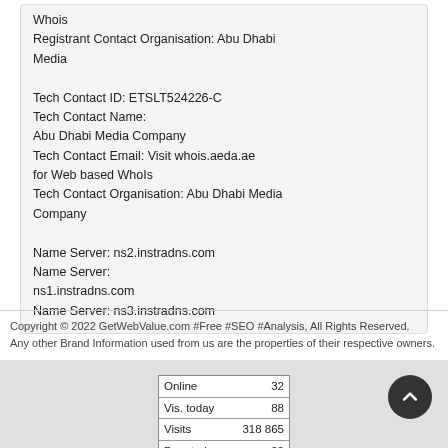Whois
Registrant Contact Organisation: Abu Dhabi Media

Tech Contact ID: ETSLT524226-C
Tech Contact Name:
Abu Dhabi Media Company
Tech Contact Email: Visit whois.aeda.ae for Web based WhoIs
Tech Contact Organisation: Abu Dhabi Media Company

Name Server: ns2.instradns.com
Name Server:
ns1.instradns.com
Name Server: ns3.instradns.com
Copyright © 2022 GetWebValue.com #Free #SEO #Analysis, All Rights Reserved.
Any other Brand Information used from us are the properties of their respective owners.
| Online | 32 |
| --- | --- |
| Vis. today | 88 |
| Visits | 318 865 |
| Pag. today | 92 |